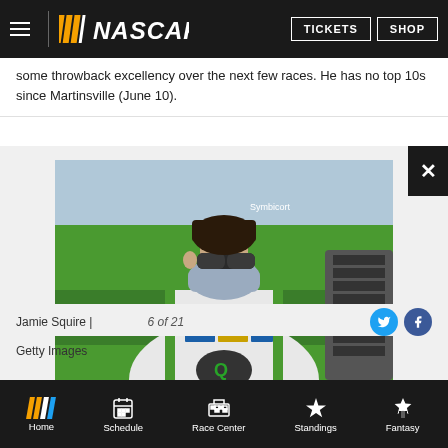NASCAR — TICKETS | SHOP
some throwback excellency over the next few races. He has no top 10s since Martinsville (June 10).
[Figure (photo): NASCAR driver wearing a face mask/gaiter and sunglasses, dressed in a white and green racing suit with various sponsor logos including Coca-Cola, Bass Pro Shops, and others, standing in front of a green car with 'American Ethanol' branding visible.]
Jamie Squire | 6 of 21
Getty Images
Home | Schedule | Race Center | Standings | Fantasy